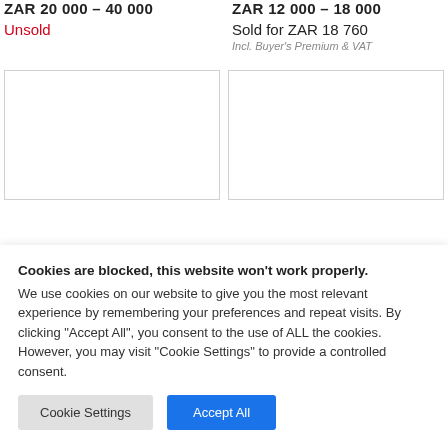ZAR 20 000 – 40 000
ZAR 12 000 – 18 000
Unsold
Sold for ZAR 18 760
Incl. Buyer's Premium & VAT
[Figure (photo): Empty image placeholder left]
[Figure (photo): Empty image placeholder right]
Cookies are blocked, this website won't work properly. We use cookies on our website to give you the most relevant experience by remembering your preferences and repeat visits. By clicking "Accept All", you consent to the use of ALL the cookies. However, you may visit "Cookie Settings" to provide a controlled consent.
Cookie Settings
Accept All